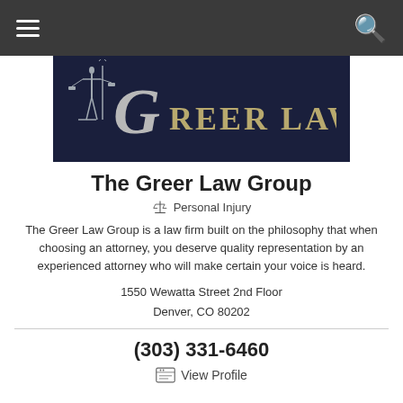Navigation bar with hamburger menu and search icon
[Figure (logo): Greer Law firm logo on dark navy background with gold serif lettering 'GREER LAW' and Lady Justice figure]
The Greer Law Group
⚖ Personal Injury
The Greer Law Group is a law firm built on the philosophy that when choosing an attorney, you deserve quality representation by an experienced attorney who will make certain your voice is heard.
1550 Wewatta Street 2nd Floor
Denver, CO 80202
(303) 331-6460
View Profile